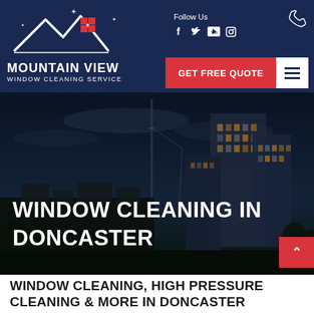[Figure (logo): Mountain View Window Cleaning Service logo with stylized mountain peaks and red grid square]
Follow Us
[Figure (infographic): Social media icons: Facebook, Twitter, YouTube, Instagram, and phone icon]
GET FREE QUOTE
[Figure (photo): Night cityscape with tall buildings, cranes, and dark sky overlaid with hero text]
WINDOW CLEANING IN DONCASTER
WINDOW CLEANING, HIGH PRESSURE CLEANING & MORE IN DONCASTER